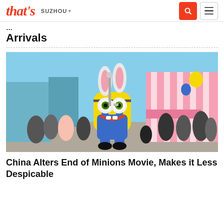that's SUZHOU
Arrivals
[Figure (photo): A Minion character in a bunny costume at what appears to be a theme park, surrounded by crowds, with pink and white striped buildings in the background.]
China Alters End of Minions Movie, Makes it Less Despicable